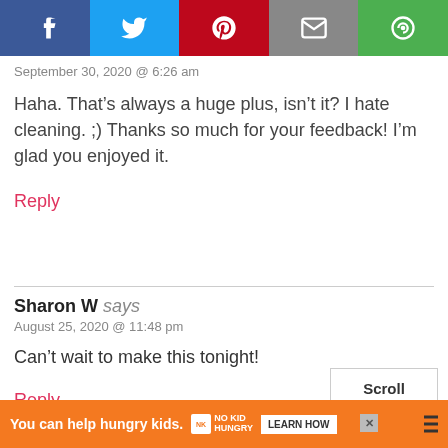[Figure (other): Social share bar with Facebook, Twitter, Pinterest, Email, and other sharing buttons]
September 30, 2020 @ 6:26 am
Haha. That’s always a huge plus, isn’t it? I hate cleaning. ;) Thanks so much for your feedback! I’m glad you enjoyed it.
Reply
Sharon W says
August 25, 2020 @ 11:48 pm
Can’t wait to make this tonight!
Reply
[Figure (other): Scroll to top button box]
[Figure (other): Ad banner: You can help hungry kids. No Kid Hungry. Learn How.]